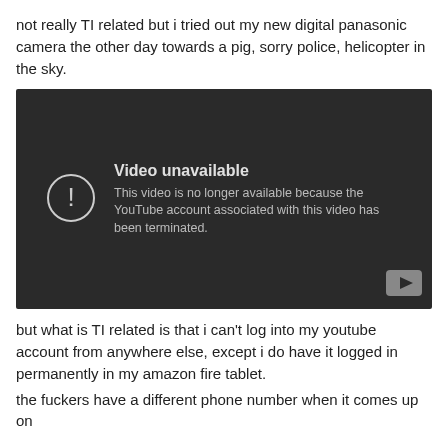not really TI related but i tried out my new digital panasonic camera the other day towards a pig, sorry police, helicopter in the sky.
[Figure (screenshot): Embedded YouTube video player showing 'Video unavailable' error message: 'This video is no longer available because the YouTube account associated with this video has been terminated.']
but what is TI related is that i can't log into my youtube account from anywhere else, except i do have it logged in permanently in my amazon fire tablet.
the fuckers have a different phone number when it comes up on